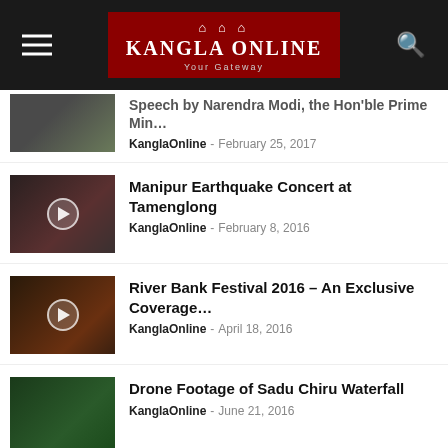Kangla Online — Your Gateway
Speech by Narendra Modi, the Hon'ble Prime Min…
KanglaOnline - February 25, 2017
Manipur Earthquake Concert at Tamenglong
KanglaOnline - February 8, 2016
River Bank Festival 2016 – An Exclusive Coverage…
KanglaOnline - April 18, 2016
Drone Footage of Sadu Chiru Waterfall
KanglaOnline - June 21, 2016
'Auto Driver', a movie selected at the 2017 WVN O…